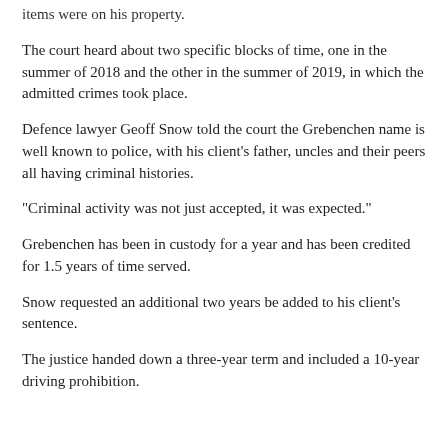items were on his property.
The court heard about two specific blocks of time, one in the summer of 2018 and the other in the summer of 2019, in which the admitted crimes took place.
Defence lawyer Geoff Snow told the court the Grebenchen name is well known to police, with his client's father, uncles and their peers all having criminal histories.
"Criminal activity was not just accepted, it was expected."
Grebenchen has been in custody for a year and has been credited for 1.5 years of time served.
Snow requested an additional two years be added to his client's sentence.
The justice handed down a three-year term and included a 10-year driving prohibition.